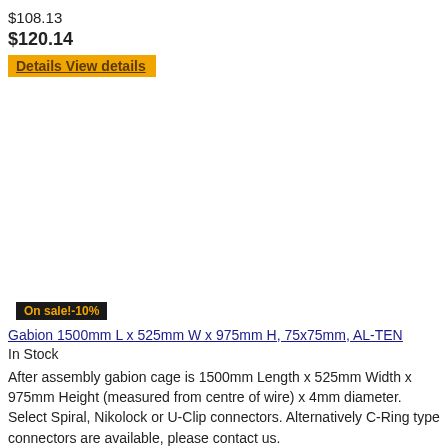$108.13
$120.14
Details View details
On sale!-10%
Gabion 1500mm L x 525mm W x 975mm H, 75x75mm, AL-TEN
In Stock
After assembly gabion cage is 1500mm Length x 525mm Width x 975mm Height (measured from centre of wire) x 4mm diameter. Select Spiral, Nikolock or U-Clip connectors. Alternatively C-Ring type connectors are available, please contact us.